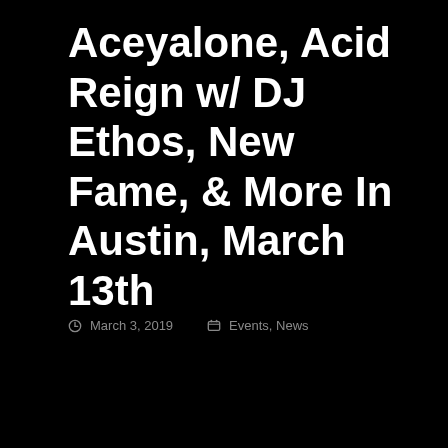Aceyalone, Acid Reign w/ DJ Ethos, New Fame, & More In Austin, March 13th
March 3, 2019   Events, News